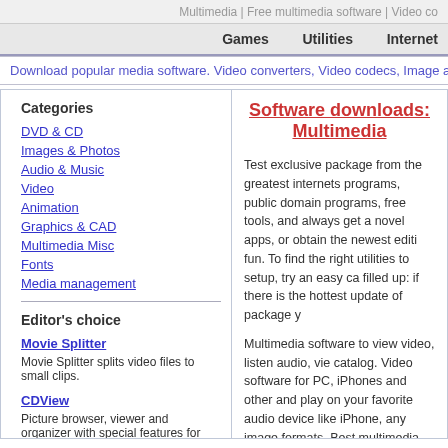Multimedia | Free multimedia software | Video co
Games   Utilities   Internet
Download popular media software. Video converters, Video codecs, Image and Audio s
Software downloads: Multimedia
Categories
DVD & CD
Images & Photos
Audio & Music
Video
Animation
Graphics & CAD
Multimedia Misc
Fonts
Media management
Editor's choice
Movie Splitter
Movie Splitter splits video files to small clips.
CDView
Picture browser, viewer and organizer with special features for CD-ROM and DVD
StereoMaker
A QuickTime utility to generate 3D
Test exclusive package from the greatest internets programs, public domain programs, free tools, and always get a novel apps, or obtain the newest editi fun. To find the right utilities to setup, try an easy ca filled up: if there is the hottest update of package y
Multimedia software to view video, listen audio, vie catalog. Video software for PC, iPhones and other and play on your favorite audio device like iPhone, any image formats. Best multimedia software in ou
Featured Software in Multimedia
OJOsoft Total Video Converter
Convert video files between various video formats popular audio formats
Browse Multimedia